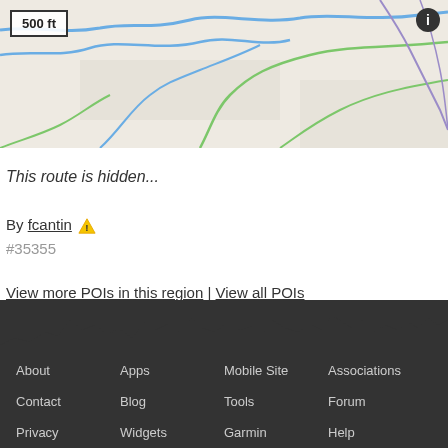[Figure (map): Partial map view with scale bar showing 500 ft and an info button. Map shows road/trail lines in blue, green, and purple on a light beige background.]
This route is hidden...
By fcantin ⚠
#35355
View more POIs in this region | View all POIs
[Figure (illustration): Dark mountain silhouette graphic used as footer background decoration]
About  Apps  Mobile Site  Associations
Contact  Blog  Tools  Forum
Privacy  Widgets  Garmin  Help
Sign Up!  Sitemap  Pro